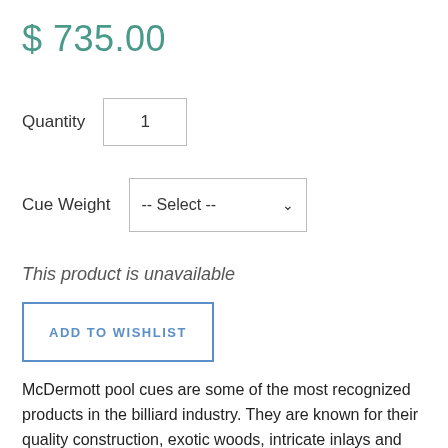$ 735.00
Quantity   1
Cue Weight   -- Select --
This product is unavailable
ADD TO WISHLIST
McDermott pool cues are some of the most recognized products in the billiard industry. They are known for their quality construction, exotic woods, intricate inlays and limitless customization options. McDermott pool cues are proudly made in the U.S.A. and are covered by a lifetime warranty, which includes cue warranty.